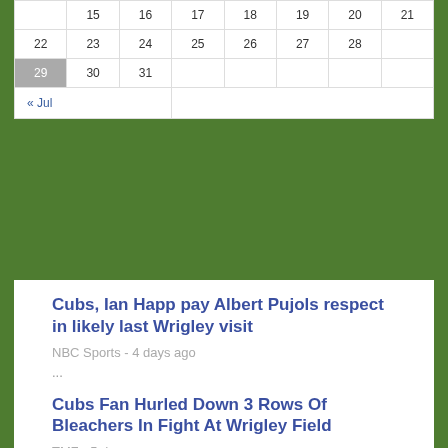| Sun | Mon | Tue | Wed | Thu | Fri | Sat |
| --- | --- | --- | --- | --- | --- | --- |
|  | 15 | 16 | 17 | 18 | 19 | 20 | 21 |
| 22 | 23 | 24 | 25 | 26 | 27 | 28 |
| 29 | 30 | 31 |  |  |  |  |
| « Jul |  |  |  |  |  |  |
Cubs, Ian Happ pay Albert Pujols respect in likely last Wrigley visit
NBC Sports - 4 days ago
...
Cubs Fan Hurled Down 3 Rows Of Bleachers In Fight At Wrigley Field
TMZ - 5 days ago
...
Chicago Cubs to host Top Gun Day at Wrigley Field
CubsHQ - 1 week ago